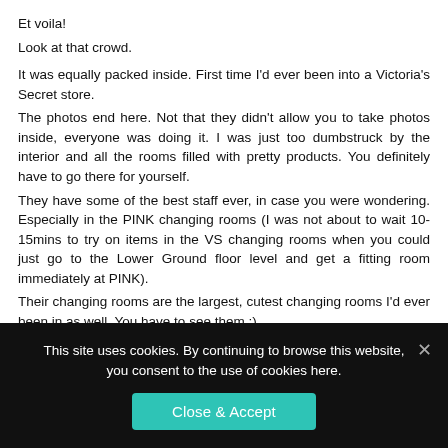Et voila!
Look at that crowd.

It was equally packed inside. First time I'd ever been into a Victoria's Secret store.
The photos end here. Not that they didn't allow you to take photos inside, everyone was doing it. I was just too dumbstruck by the interior and all the rooms filled with pretty products. You definitely have to go there for yourself.
They have some of the best staff ever, in case you were wondering. Especially in the PINK changing rooms (I was not about to wait 10-15mins to try on items in the VS changing rooms when you could just go to the Lower Ground floor level and get a fitting room immediately at PINK).
Their changing rooms are the largest, cutest changing rooms I'd ever been in as well. You have to see them :)
All I can say is, I ended up shopping there for a full 2hrs and walked away £200+ poorer.
This site uses cookies. By continuing to browse this website, you consent to the use of cookies here.